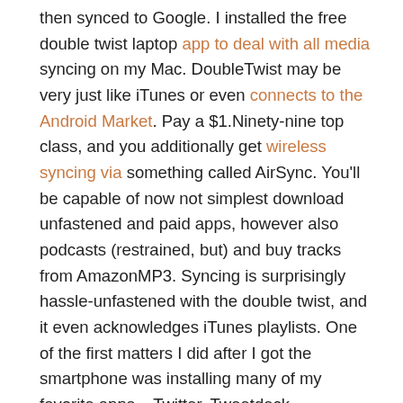then synced to Google. I installed the free double twist laptop app to deal with all media syncing on my Mac. DoubleTwist may be very just like iTunes or even connects to the Android Market. Pay a $1.Ninety-nine top class, and you additionally get wireless syncing via something called AirSync. You'll be capable of now not simplest download unfastened and paid apps, however also podcasts (restrained, but) and buy tracks from AmazonMP3. Syncing is surprisingly hassle-unfastened with the double twist, and it even acknowledges iTunes playlists. One of the first matters I did after I got the smartphone was installing many of my favorite apps – Twitter, Tweetdeck, Facebook, Opera Mini, WhatsApp, Foursquare, and Angry Birds thru the bundled Android Market app. I also installed Advanced Task Killer to lose up memory manually, as I expected the 170MB base reminiscence's inadequacies. Downloading and installation are seamless and hassle-unfastened.